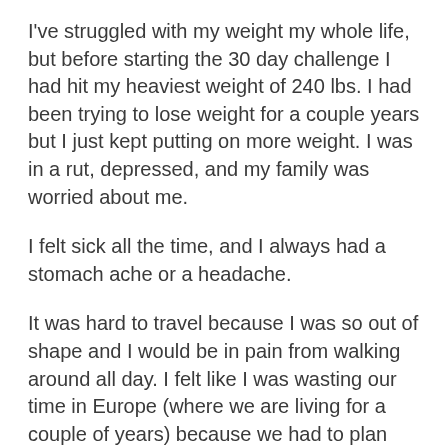I've struggled with my weight my whole life, but before starting the 30 day challenge I had hit my heaviest weight of 240 lbs. I had been trying to lose weight for a couple years but I just kept putting on more weight. I was in a rut, depressed, and my family was worried about me.
I felt sick all the time, and I always had a stomach ache or a headache.
It was hard to travel because I was so out of shape and I would be in pain from walking around all day. I felt like I was wasting our time in Europe (where we are living for a couple of years) because we had to plan our trips around me and what my body could handle.